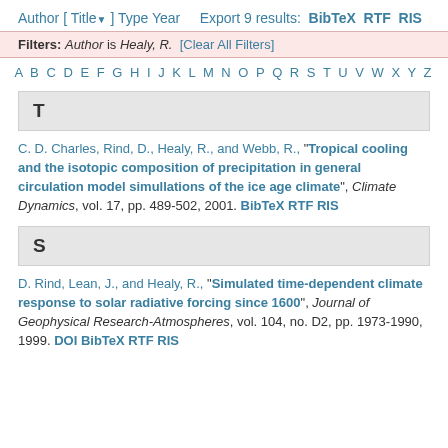Author [ Title ] Type Year   Export 9 results: BibTeX RTF RIS
Filters: Author is Healy, R. [Clear All Filters]
A B C D E F G H I J K L M N O P Q R S T U V W X Y Z
T
C. D. Charles, Rind, D., Healy, R., and Webb, R., "Tropical cooling and the isotopic composition of precipitation in general circulation model simullations of the ice age climate", Climate Dynamics, vol. 17, pp. 489-502, 2001. BibTeX RTF RIS
S
D. Rind, Lean, J., and Healy, R., "Simulated time-dependent climate response to solar radiative forcing since 1600", Journal of Geophysical Research-Atmospheres, vol. 104, no. D2, pp. 1973-1990, 1999. DOI BibTeX RTF RIS